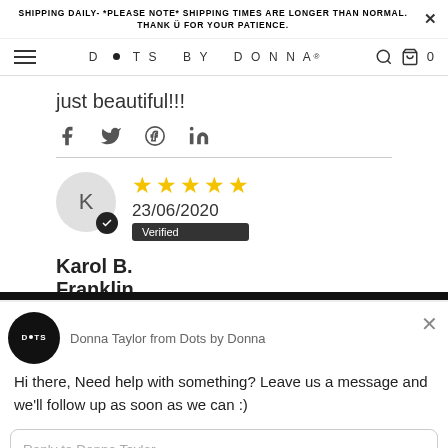SHIPPING DAILY- *PLEASE NOTE* SHIPPING TIMES ARE LONGER THAN NORMAL. THANK Ü FOR YOUR PATIENCE.
[Figure (screenshot): Dots by Donna website navigation bar with hamburger menu, brand logo, search and cart icons]
just beautiful!!!
[Figure (infographic): Social share icons: Facebook, Twitter, Pinterest, LinkedIn]
[Figure (infographic): Customer review by Karol B. Franklin: 5 stars, dated 23/06/2020, Verified badge]
Karol B. Franklin
[Figure (screenshot): Drift chat widget overlay showing Donna Taylor from Dots by Donna with message: Hi there, Need help with something? Leave us a message and we'll follow up as soon as we can :) with Reply to Donna Taylor input box]
bought for
birthday I know
his parents all
it as they love
your work
Chat ⚡ by Drift